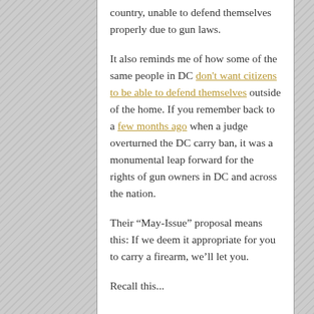country, unable to defend themselves properly due to gun laws.
It also reminds me of how some of the same people in DC don't want citizens to be able to defend themselves outside of the home. If you remember back to a few months ago when a judge overturned the DC carry ban, it was a monumental leap forward for the rights of gun owners in DC and across the nation.
Their “May-Issue” proposal means this: If we deem it appropriate for you to carry a firearm, we’ll let you.
Recall this...